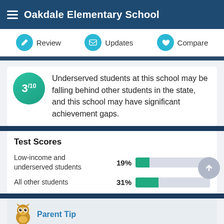Oakdale Elementary School
Review   Updates   Compare
3/10 Underserved students at this school may be falling behind other students in the state, and this school may have significant achievement gaps.
Test Scores
[Figure (bar-chart): Test Scores]
Parent Tip
Does this school offer opportunity for all its students, or leave some behind? Successful schools understand